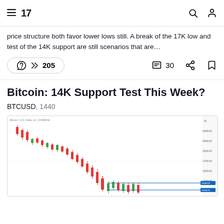TradingView
price structure both favor lower lows still. A break of the 17K low and test of the 14K support are still scenarios that are…
205 boosts · 30 comments
Bitcoin: 14K Support Test This Week?
BTCUSD, 1440
[Figure (screenshot): Bitcoin BTCUSD price chart on TradingView showing a downtrend with horizontal support levels marked near 14K and 12K]